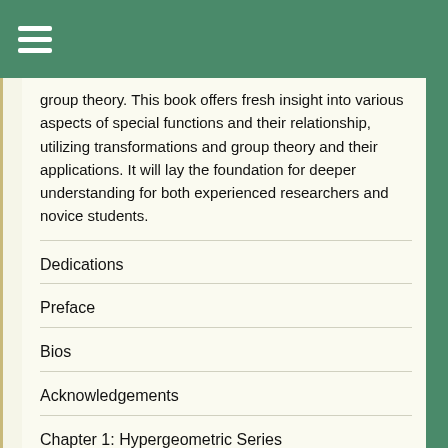group theory. This book offers fresh insight into various aspects of special functions and their relationship, utilizing transformations and group theory and their applications. It will lay the foundation for deeper understanding for both experienced researchers and novice students.
Dedications
Preface
Bios
Acknowledgements
Chapter 1: Hypergeometric Series
Chapter 2: Group Theory : Basics